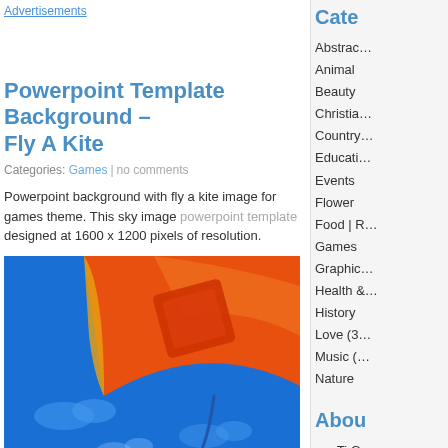Advertisements
Powerpoint Template Background – Fly A Kite
Categories: Games | no comments
Powerpoint background with fly a kite image for games theme. This sky image powerpoint template designed at 1600 x 1200 pixels of resolution.
[Figure (photo): Colorful kite image with orange and blue sky background, with text 'FLY A KITE' at bottom left]
Cate…
Abstrac…
Animal
Beauty
Christia…
Country…
Educati…
Events
Flower
Food | R…
Games
Graphic…
Health &…
History
Love (3…
Music (…
Nature
Abou…
nuoTi G…
clipart a…
Downlo…
at high…